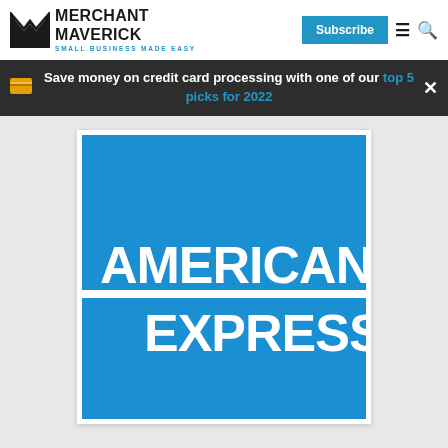[Figure (logo): Merchant Maverick logo with M icon and tagline 'Small Business Made Easy']
Subscribe
Save money on credit card processing with one of our top 5 picks for 2022
[Figure (logo): American Express logo — white text on blue background square]